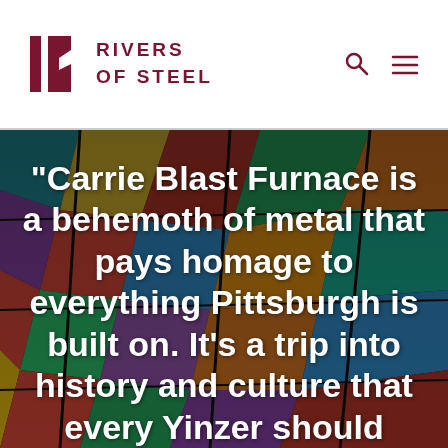[Figure (logo): Rivers of Steel logo — stylized 'RS' monogram in dark red with text 'RIVERS OF STEEL' beside it]
[Figure (photo): Background photo of colorful geometric stained-glass or industrial art installation, dark overlay, with a large white quote text overlay reading: "Carrie Blast Furnace is a behemoth of metal that pays homage to everything Pittsburgh is built on. It's a trip into history and culture that every Yinzer should visit."—Jen Duceour, Google]
"Carrie Blast Furnace is a behemoth of metal that pays homage to everything Pittsburgh is built on. It's a trip into history and culture that every Yinzer should visit."—Jen Duceour, Google